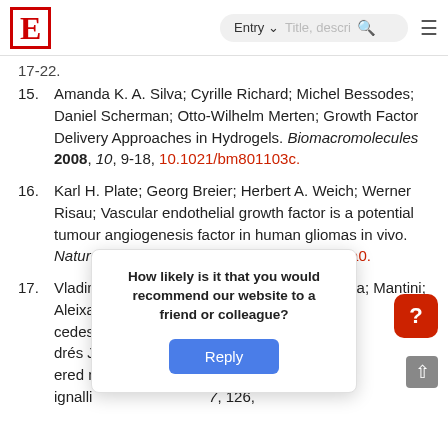E | Entry | Title, description search
17-22.
15. Amanda K. A. Silva; Cyrille Richard; Michel Bessodes; Daniel Scherman; Otto-Wilhelm Merten; Growth Factor Delivery Approaches in Hydrogels. Biomacromolecules 2008, 10, 9-18, 10.1021/bm801103c.
16. Karl H. Plate; Georg Breier; Herbert A. Weich; Werner Risau; Vascular endothelial growth factor is a potential tumour angiogenesis factor in human gliomas in vivo. Nature 1992, 359, 845-848, 10.1038/359845a0.
17. Vladimira Moulisova; Cristina Gonzalez-García; M antini; Aleixandre Rodrigo-Navarro; Jess Heavr cedes alby; An drés J ered n Integrin Signalli 7, 126,